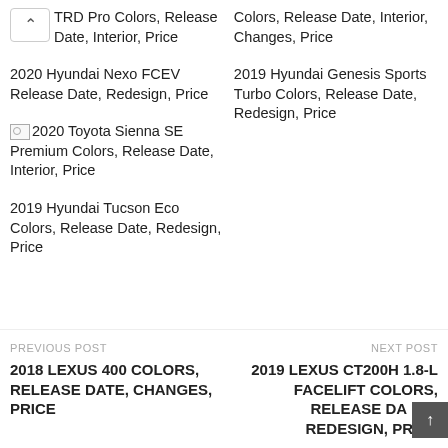↑ TRD Pro Colors, Release Date, Interior, Price
Colors, Release Date, Interior, Changes, Price
2020 Hyundai Nexo FCEV Release Date, Redesign, Price
2019 Hyundai Genesis Sports Turbo Colors, Release Date, Redesign, Price
2020 Toyota Sienna SE Premium Colors, Release Date, Interior, Price
2019 Hyundai Tucson Eco Colors, Release Date, Redesign, Price
PREVIOUS POST
2018 LEXUS 400 COLORS, RELEASE DATE, CHANGES, PRICE
NEXT POST
2019 LEXUS CT200H 1.8-L FACELIFT COLORS, RELEASE DATE, REDESIGN, PRICE